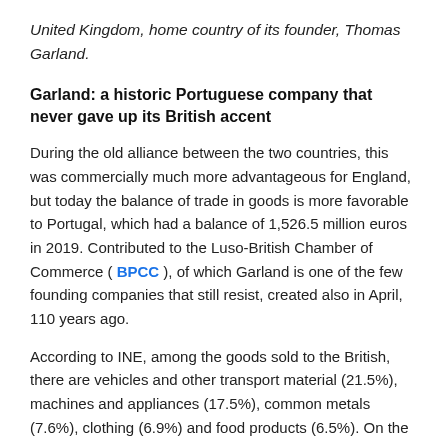United Kingdom, home country of its founder, Thomas Garland.
Garland: a historic Portuguese company that never gave up its British accent
During the old alliance between the two countries, this was commercially much more advantageous for England, but today the balance of trade in goods is more favorable to Portugal, which had a balance of 1,526.5 million euros in 2019. Contributed to the Luso-British Chamber of Commerce ( BPCC ), of which Garland is one of the few founding companies that still resist, created also in April, 110 years ago.
According to INE, among the goods sold to the British, there are vehicles and other transport material (21.5%), machines and appliances (17.5%), common metals (7.6%), clothing (6.9%) and food products (6.5%). On the